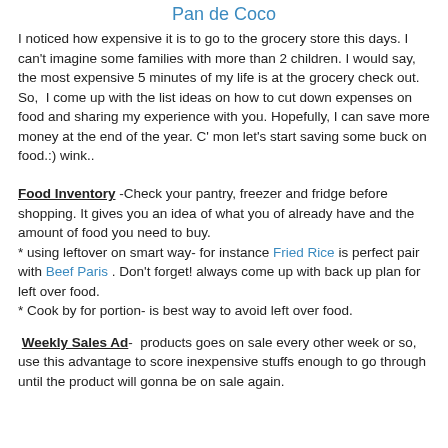Pan de Coco
I noticed how expensive it is to go to the grocery store this days. I can't imagine some families with more than 2 children. I would say, the most expensive 5 minutes of my life is at the grocery check out. So,  I come up with the list ideas on how to cut down expenses on food and sharing my experience with you. Hopefully, I can save more money at the end of the year. C' mon let's start saving some buck on food.:) wink..
Food Inventory -Check your pantry, freezer and fridge before shopping. It gives you an idea of what you of already have and the amount of food you need to buy.
* using leftover on smart way- for instance Fried Rice is perfect pair with Beef Paris . Don't forget! always come up with back up plan for left over food.
* Cook by for portion- is best way to avoid left over food.
Weekly Sales Ad-  products goes on sale every other week or so, use this advantage to score inexpensive stuffs enough to go through until the product will gonna be on sale again.